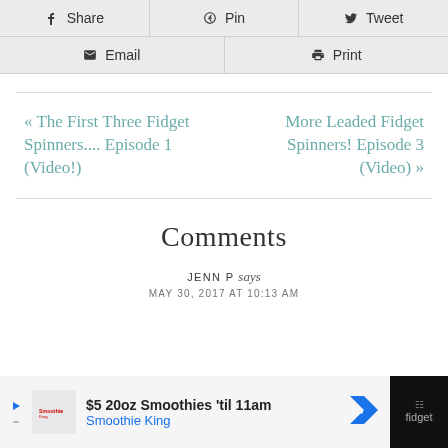Share
Pin
Tweet
Email
Print
« The First Three Fidget Spinners.... Episode 1 (Video!)
More Leaded Fidget Spinners! Episode 3 (Video) »
Comments
JENN P says
MAY 30, 2017 AT 10:13 AM
[Figure (screenshot): Advertisement bar at bottom: $5 20oz Smoothies 'til 11am - Smoothie King, with navigation arrow icon and fidget spinner app logo on right]